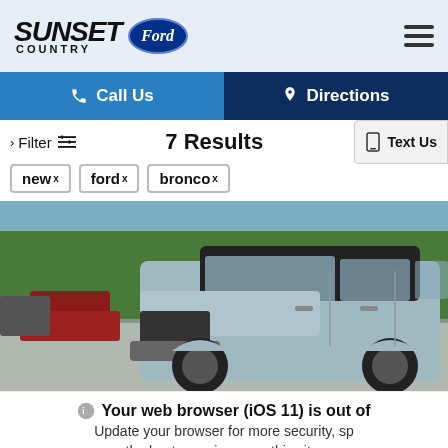[Figure (logo): Sunset Country Ford dealership logo with Ford oval badge and hamburger menu icon]
Call Us
Directions
Text Us
> Filter  7 Results
new ×
ford ×
bronco ×
[Figure (photo): Ford Bronco SUV photographed in a dealership lot with trees in background]
Your web browser (iOS 11) is out of date. Update your browser for more security, speed and the best experience on this site.
Update browser   Ignore